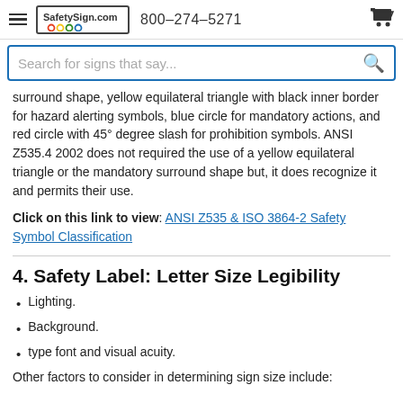SafetySign.com  800-274-5271
surround shape, yellow equilateral triangle with black inner border for hazard alerting symbols, blue circle for mandatory actions, and red circle with 45° degree slash for prohibition symbols. ANSI Z535.4 2002 does not required the use of a yellow equilateral triangle or the mandatory surround shape but, it does recognize it and permits their use.
Click on this link to view: ANSI Z535 & ISO 3864-2 Safety Symbol Classification
4. Safety Label: Letter Size Legibility
Lighting.
Background.
type font and visual acuity.
Other factors to consider in determining sign size include: